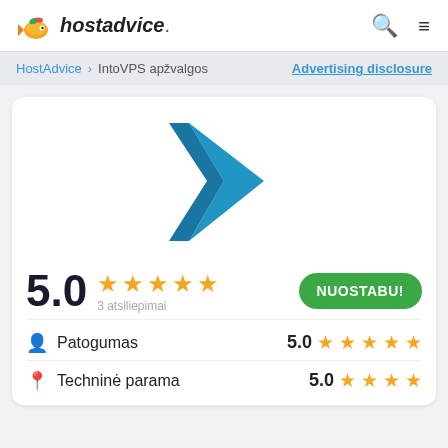[Figure (logo): HostAdvice logo with cartoon fish mascot and italic bold text 'hostadvice.']
HostAdvice > IntoVPS apžvalgos
Advertising disclosure
[Figure (logo): IntoVPS logo — a blue chevron/arrow shape pointing right]
5.0  ★★★★★  3 atsiliepimai
NUOSTABU!
Patogumas  5.0 ★★★★★
Techninė parama  5.0 ★★★★